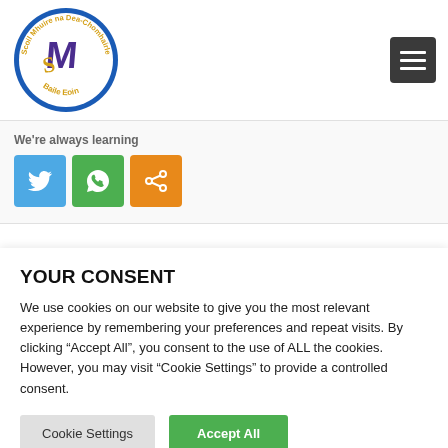[Figure (logo): Scoil Mhuire na Dea-Chomhairle Baile Eoin school circular logo with blue border, gold text, and stylized purple and gold M letter emblem in center]
We're always learning
[Figure (infographic): Three social sharing icon buttons: Twitter (blue bird icon), WhatsApp (green phone/message icon), Share (orange share/arrow icon)]
YOUR CONSENT
We use cookies on our website to give you the most relevant experience by remembering your preferences and repeat visits. By clicking “Accept All”, you consent to the use of ALL the cookies. However, you may visit “Cookie Settings” to provide a controlled consent.
Cookie Settings   Accept All